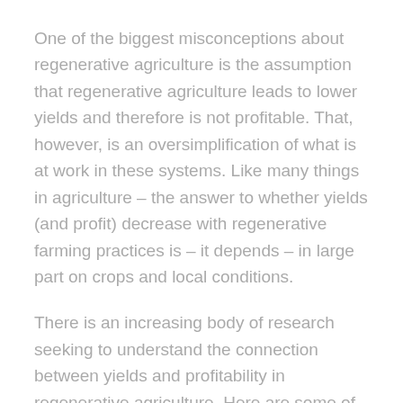One of the biggest misconceptions about regenerative agriculture is the assumption that regenerative agriculture leads to lower yields and therefore is not profitable. That, however, is an oversimplification of what is at work in these systems. Like many things in agriculture – the answer to whether yields (and profit) decrease with regenerative farming practices is – it depends – in large part on crops and local conditions.
There is an increasing body of research seeking to understand the connection between yields and profitability in regenerative agriculture. Here are some of the highlights: